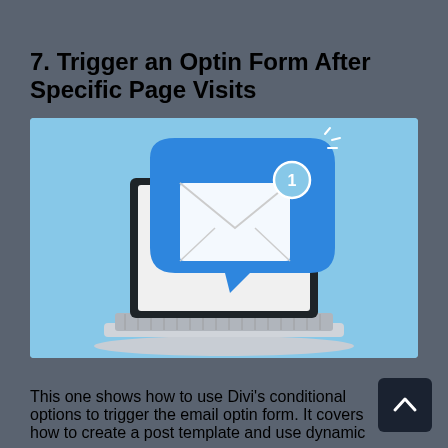7. Trigger an Optin Form After Specific Page Visits
[Figure (illustration): Illustration of a laptop with a large blue speech bubble chat notification containing an envelope/email icon and a badge showing the number 1, on a light blue background.]
This one shows how to use Divi's conditional options to trigger the email optin form. It covers how to create a post template and use dynamic